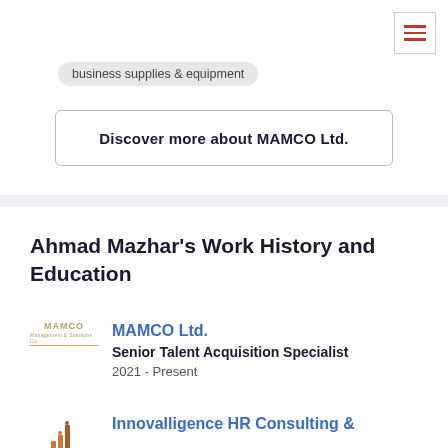business supplies & equipment
Discover more about MAMCO Ltd.
Ahmad Mazhar's Work History and Education
MAMCO Ltd.
Senior Talent Acquisition Specialist
2021 - Present
Innovalligence HR Consulting &